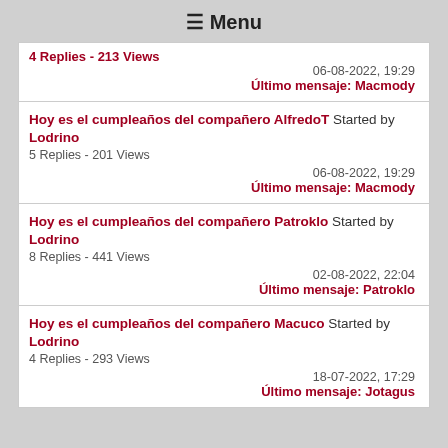≡ Menu
4 Replies - 213 Views
06-08-2022, 19:29
Último mensaje: Macmody
Hoy es el cumpleaños del compañero AlfredoT Started by Lodrino
5 Replies - 201 Views
06-08-2022, 19:29
Último mensaje: Macmody
Hoy es el cumpleaños del compañero Patroklo Started by Lodrino
8 Replies - 441 Views
02-08-2022, 22:04
Último mensaje: Patroklo
Hoy es el cumpleaños del compañero Macuco Started by Lodrino
4 Replies - 293 Views
18-07-2022, 17:29
Último mensaje: Jotagus